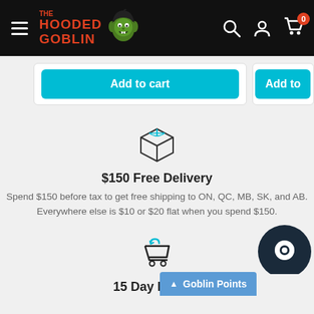[Figure (screenshot): The Hooded Goblin website navigation bar with hamburger menu, logo, search icon, account icon, and cart icon with badge showing 0]
[Figure (other): Two product cards each with a cyan 'Add to cart' button, second card partially cropped]
[Figure (other): Box/package icon representing free delivery]
$150 Free Delivery
Spend $150 before tax to get free shipping to ON, QC, MB, SK, and AB. Everywhere else is $10 or $20 flat when you spend $150.
[Figure (other): Return cart icon representing 15 Day Refund policy]
15 Day Refund